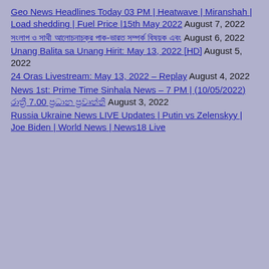Geo News Headlines Today 03 PM | Heatwave | Miranshah | Load shedding | Fuel Price |15th May 2022 August 7, 2022
সংলাপ ও সাথী আলোচনাচক্র পাক-ভারত সম্পর্ক বিষয়ক এবং August 6, 2022
Unang Balita sa Unang Hirit: May 13, 2022 [HD] August 5, 2022
24 Oras Livestream: May 13, 2022 – Replay August 4, 2022
News 1st: Prime Time Sinhala News – 7 PM | (10/05/2022) රාත්‍රී 7.00 ප්‍රධාන ප්‍රවෘත්ති August 3, 2022
Russia Ukraine News LIVE Updates | Putin vs Zelenskyy | Joe Biden | World News | News18 Live